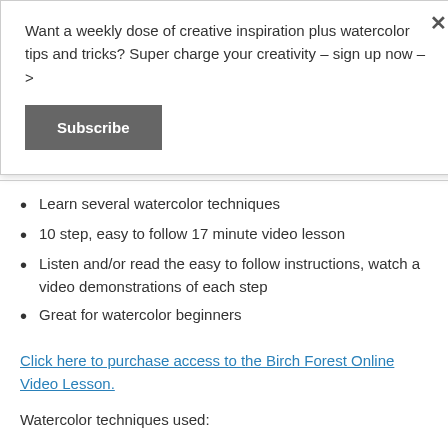Want a weekly dose of creative inspiration plus watercolor tips and tricks? Super charge your creativity – sign up now – >
Subscribe
Learn several watercolor techniques
10 step, easy to follow 17 minute video lesson
Listen and/or read the easy to follow instructions, watch a video demonstrations of each step
Great for watercolor beginners
Click here to purchase access to the Birch Forest Online Video Lesson.
Watercolor techniques used: